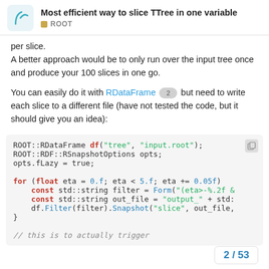Most efficient way to slice TTree in one variable | ROOT
per slice.
A better approach would be to only run over the input tree once and produce your 100 slices in one go.
You can easily do it with RDataFrame 2 but need to write each slice to a different file (have not tested the code, but it should give you an idea):
2 / 53